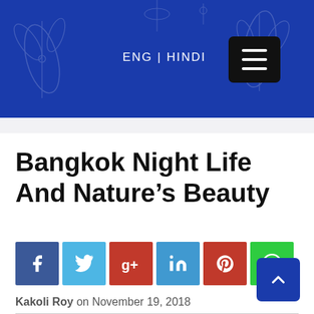ENG | HINDI
Bangkok Night Life And Nature’s Beauty
[Figure (infographic): Row of social media share buttons: Facebook (blue), Twitter (cyan), Google+ (red), LinkedIn (blue), Pinterest (red), WhatsApp (green)]
Kakoli Roy on November 19, 2018